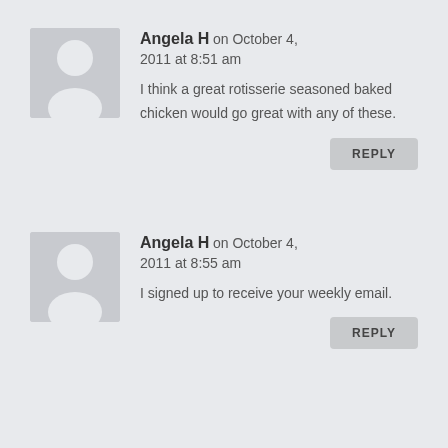[Figure (illustration): Generic user avatar placeholder — grey square with white silhouette of a person (head circle and body arc)]
Angela H on October 4, 2011 at 8:51 am
I think a great rotisserie seasoned baked chicken would go great with any of these.
REPLY
[Figure (illustration): Generic user avatar placeholder — grey square with white silhouette of a person (head circle and body arc)]
Angela H on October 4, 2011 at 8:55 am
I signed up to receive your weekly email.
REPLY